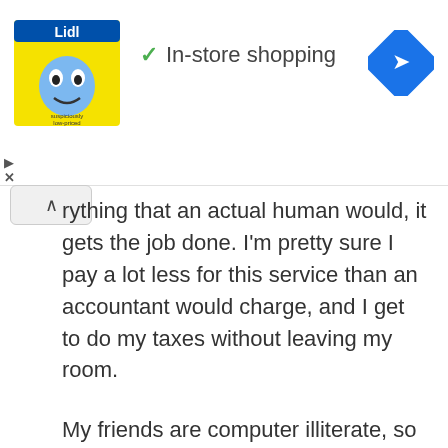[Figure (screenshot): Lidl advertisement banner with logo, In-store shopping text, green checkmark, and blue navigation diamond icon]
rything that an actual human would, it gets the job done. I'm pretty sure I pay a lot less for this service than an accountant would charge, and I get to do my taxes without leaving my room.
My friends are computer illiterate, so this was not an option for them. I will say that they generally do wind up getting a big sum of money back, so maybe going to an accountant isn't such a bad idea.